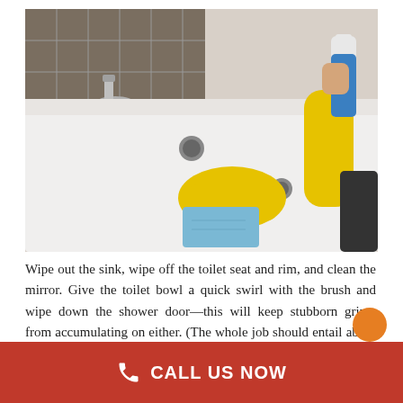[Figure (photo): Person wearing yellow rubber gloves cleaning a white bathtub/sink with a blue cloth, holding a spray bottle. Tile wall and chrome faucet visible in background.]
Wipe out the sink, wipe off the toilet seat and rim, and clean the mirror. Give the toilet bowl a quick swirl with the brush and wipe down the shower door—this will keep stubborn grime from accumulating on either. (The whole job should entail about 15 minutes of cleaning in total.)
CALL US NOW